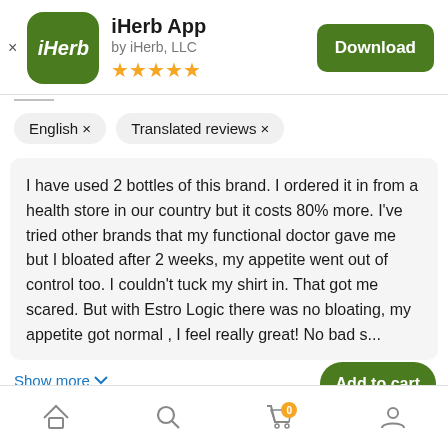[Figure (logo): iHerb app icon - green rounded square with white iHerb text]
iHerb App
by iHerb, LLC
[Figure (other): 5 gold stars rating]
Download
English ×
Translated reviews ×
I have used 2 bottles of this brand. I ordered it in from a health store in our country but it costs 80% more. I've tried other brands that my functional doctor gave me but I bloated after 2 weeks, my appetite went out of control too. I couldn't tuck my shirt in. That got me scared. But with Estro Logic there was no bloating, my appetite got normal , I feel really great! No bad s...
Show more ∨
Disclaimer: Not medical or professional advice.
Add to cart